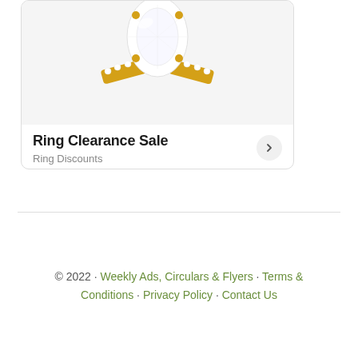[Figure (photo): Diamond engagement ring with oval-cut white diamond in yellow gold setting with pavé band, displayed on white background]
Ring Clearance Sale
Ring Discounts
© 2022 · Weekly Ads, Circulars & Flyers · Terms & Conditions · Privacy Policy · Contact Us